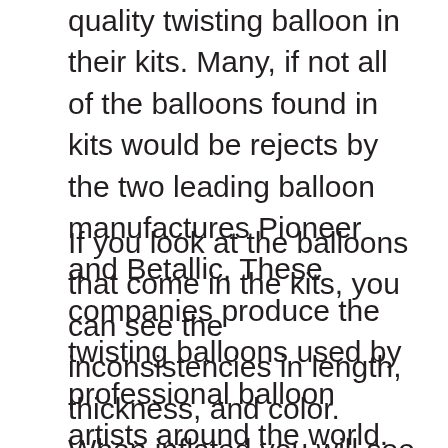quality twisting balloon in their kits. Many, if not all of the balloons found in kits would be rejects by the two leading balloon manufactures Pioneer and Betallic. These companies produce the twisting balloons used by professional balloon artists around the world.
If you look at the balloons that come in the kits, you can see the inconsistencies in length, thickness, and color. When inflated you will see spots in the balloon that are transparent and other areas are opaque (non-transparent). These inconsistencies in the manufacturing of the balloon is what causes it to break; thus discouraging kids and adults from learning how to make balloons.